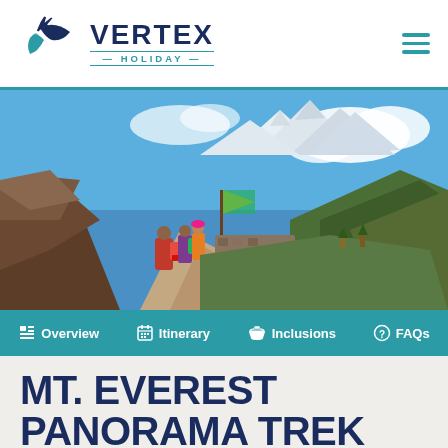VERTEX HOLIDAY
[Figure (photo): Trekkers on a mountain trail with Himalayan peaks and blue sky in background, snow-capped mountains visible]
Overview | Itinerary | Inclusions | FAQs
MT. EVEREST PANORAMA TREK